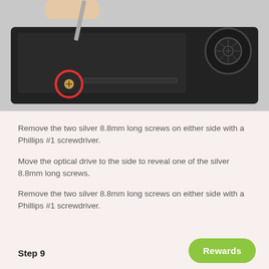[Figure (photo): Photo of a black laptop being worked on with a screwdriver. A red circle highlights a screw on the lower-left area of the device. A cooling fan is visible on the upper-right. A hand holds a Phillips screwdriver from the top.]
Remove the two silver 8.8mm long screws on either side with a Phillips #1 screwdriver.
Move the optical drive to the side to reveal one of the silver 8.8mm long screws.
Remove the two silver 8.8mm long screws on either side with a Phillips #1 screwdriver.
Step 9